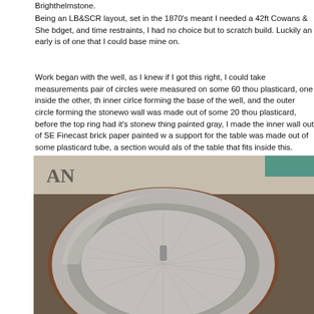Brighthelmstone.
Being an LB&SCR layout, set in the 1870's meant I needed a 42ft Cowans & She bdget, and time restraints, I had no choice but to scratch build. Luckily an early is of one that I could base mine on.
Work began with the well, as I knew if I got this right, I could take measurements pair of circles were measured on some 60 thou plasticard, one inside the other, th inner cirlce forming the base of the well, and the outer circle forming the stonewo wall was made out of some 20 thou plasticard, before the top ring had it's stonew thing painted gray, I made the inner wall out of SE Finecast brick paper painted w a support for the table was made out of some plasticard tube, a section would als of the table that fits inside this.
[Figure (photo): Overhead view of a scratch-built model railway turntable well. The circular well is constructed from plasticard with a gray painted stone-effect outer ring, a terracotta/brown brick inner wall, and a gray flat base with segment lines. A small gray cylindrical center pin protrudes from the middle. The model sits on what appears to be newspaper.]